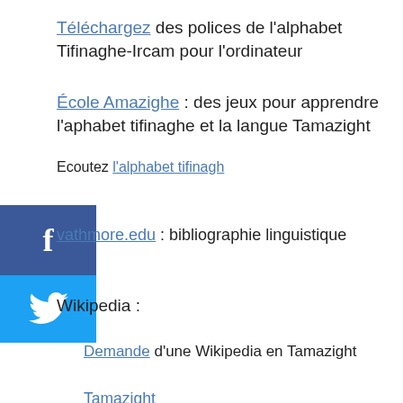Téléchargez des polices de l'alphabet Tifinaghe-Ircam pour l'ordinateur
École Amazighe : des jeux pour apprendre l'aphabet tifinaghe et la langue Tamazight
Ecoutez l'alphabet tifinagh
[Figure (other): Facebook share button (blue square with white 'f' icon)]
[Figure (other): Twitter share button (blue square with white bird icon)]
vathmore.edu : bibliographie linguistique
Wikipedia :
Demande d'une Wikipedia en Tamazight
Tamazight
Tifinagh